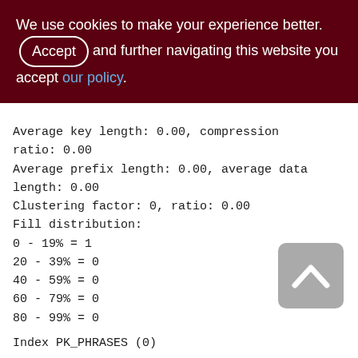We use cookies to make your experience better. By accepting and further navigating this website you accept our policy.
Average key length: 0.00, compression ratio: 0.00
Average prefix length: 0.00, average data length: 0.00
Clustering factor: 0, ratio: 0.00
Fill distribution:
0 - 19% = 1
20 - 39% = 0
40 - 59% = 0
60 - 79% = 0
80 - 99% = 0
Index PK PHRASES (0)